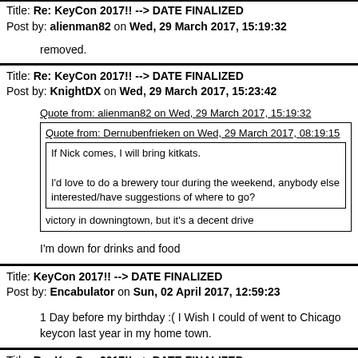Title: Re: KeyCon 2017!! --> DATE FINALIZED
Post by: alienman82 on Wed, 29 March 2017, 15:19:32
removed.
Title: Re: KeyCon 2017!! --> DATE FINALIZED
Post by: KnightDX on Wed, 29 March 2017, 15:23:42
Quote from: alienman82 on Wed, 29 March 2017, 15:19:32
Quote from: Dernubenfrieken on Wed, 29 March 2017, 08:19:15
If Nick comes, I will bring kitkats.
I'd love to do a brewery tour during the weekend, anybody else interested/have suggestions of where to go?
victory in downingtown, but it's a decent drive
I'm down for drinks and food
Title: KeyCon 2017!! --> DATE FINALIZED
Post by: Encabulator on Sun, 02 April 2017, 12:59:23
1 Day before my birthday :( I Wish I could of went to Chicago keycon last year in my home town.
Title: Re: KeyCon 2017!! --> DATE FINALIZED
Post by: northpark on Mon, 03 April 2017, 07:55:17